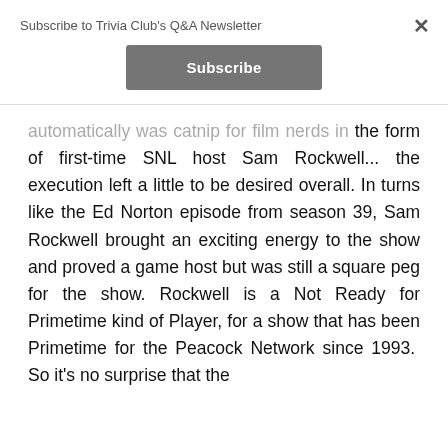Subscribe to Trivia Club's Q&A Newsletter
Subscribe
automatically was catnip for film nerds in the form of first-time SNL host Sam Rockwell... the execution left a little to be desired overall. In turns like the Ed Norton episode from season 39, Sam Rockwell brought an exciting energy to the show and proved a game host but was still a square peg for the show. Rockwell is a Not Ready for Primetime kind of Player, for a show that has been Primetime for the Peacock Network since 1993. So it's no surprise that the